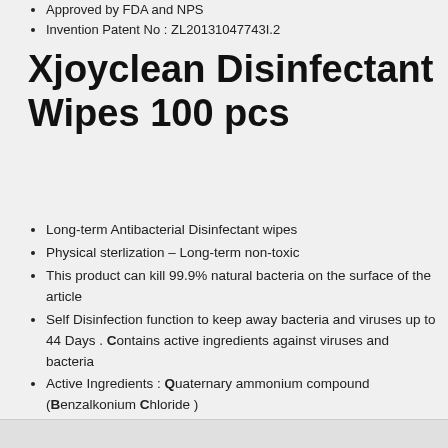Approved by FDA and NPS
Invention Patent No : ZL20131047743I.2
Xjoyclean Disinfectant Wipes 100 pcs
Long-term Antibacterial Disinfectant wipes
Physical sterlization - Long-term non-toxic
This product can kill 99.9% natural bacteria on the surface of the article
Self Disinfection function to keep away bacteria and viruses up to 44 Days . Contains active ingredients against viruses and bacteria
Active Ingredients : Quaternary ammonium compound (Benzalkonium Chloride )
Approved by FDA and NPS
Invention Patent No : ZL20131047743I.2